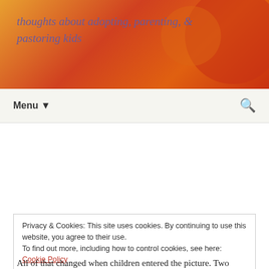thoughts about adopting, parenting, & pastoring kids
Menu ▼
No-Sweat School Mornings
August 8, 2013   Uncategorized
I do mornings.
For years until I was 42, I used to say that I was not a
Privacy & Cookies: This site uses cookies. By continuing to use this website, you agree to their use. To find out more, including how to control cookies, see here: Cookie Policy
Close and accept
All of that changed when children entered the picture. Two